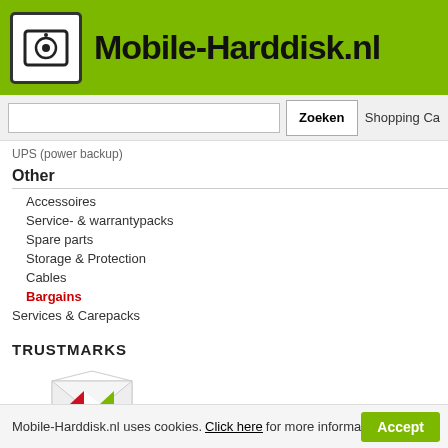Mobile-Harddisk.nl
UPS (power backup)
Other
Accessoires
Service- & warrantypacks
Spare parts
Storage & Protection
Cables
Bargains
Services & Carepacks
| Specification | Value |
| --- | --- |
| Size | 3,5" |
| Capacity | 10 TB |
| Type of usage | Datacentre |
| Interface | SATA III (6 Gb/s) |
| Cache | 256 MB |
| Rotations | 7200 RPM |
| Warranty | 5 year |
| EAN Code | 07636491412 |
Did you notice a wrong specification? Please
Show advanced
TRUSTMARKS
[Figure (logo): Thuiswinkel waarborg logo - envelope shaped logo with red and green diamond, text: thuiswinkel waarborg]
[Figure (infographic): Live Chat popup box with bold text 'Live Chat' and 'Offline.' subtitle, with red triangle decoration]
Mobile-Harddisk.nl uses cookies. Click here for more information.  Accept